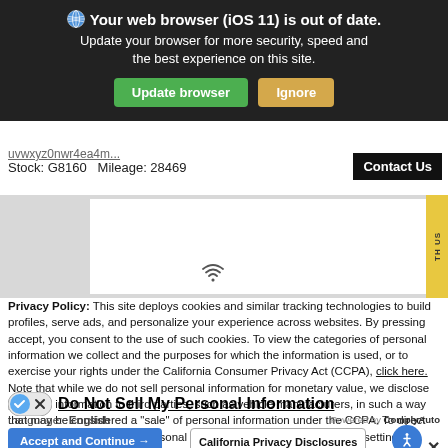[Figure (screenshot): Browser update notification banner with dark background. Shows globe icon, bold text 'Your web browser (iOS 11) is out of date. Update your browser for more security, speed and the best experience on this site.' with green 'Update browser' button and orange 'Ignore' button.]
Stock: G8160  Mileage: 28469
[Figure (screenshot): Contact Us button (dark background, white text) on right side of stock/mileage bar.]
[Figure (screenshot): Grey content area with white inner region. WiFi icon visible in center. Yellow sidebar tab on right edge with rotated text 'TH US'.]
Privacy Policy: This site deploys cookies and similar tracking technologies to build profiles, serve ads, and personalize your experience across websites. By pressing accept, you consent to the use of such cookies. To view the categories of personal information we collect and the purposes for which the information is used, or to exercise your rights under the California Consumer Privacy Act (CCPA), click here. Note that while we do not sell personal information for monetary value, we disclose personal information to third parties, such as vehicle manufacturers, in such a way that may be considered a "sale" of personal information under the CCPA. To direct us to stop the sale of your personal information, or to re-access these settings or disclosures at anytime, click the following icon or link:
Do Not Sell My Personal Information
Language:  English
Powered by ComplyAuto
Accept and Continue →
California Privacy Disclosures